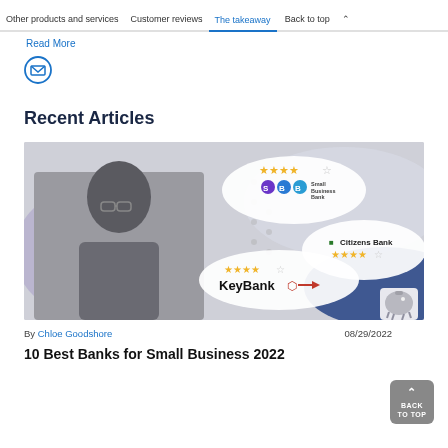Other products and services   Customer reviews   The takeaway   Back to top
Read More
[Figure (illustration): Email envelope icon inside a circle]
Recent Articles
[Figure (photo): Article thumbnail showing a person working at a desk with bank review bubbles including SBB, Citizens Bank, and KeyBank logos with star ratings]
By Chloe Goodshore
08/29/2022
10 Best Banks for Small Business 2022